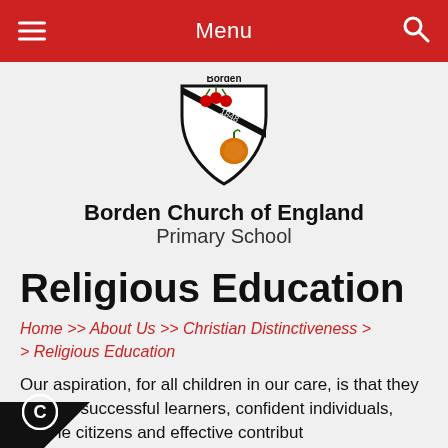Menu
[Figure (logo): Borden Church of England Primary School shield logo with cherries and apple, est. 1848]
Borden Church of England Primary School
Religious Education
Home >> About Us >> Christian Distinctiveness > > Religious Education
Our aspiration, for all children in our care, is that they ld be successful learners, confident individuals, ble citizens and effective contributors